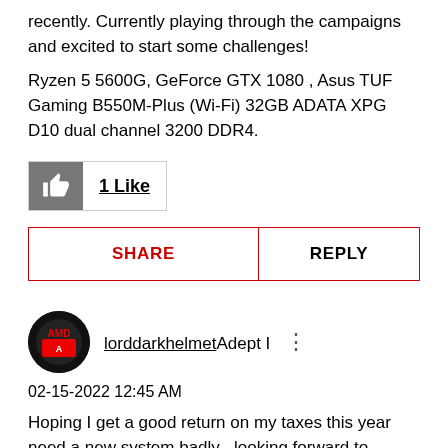recently. Currently playing through the campaigns and excited to start some challenges!
Ryzen 5 5600G, GeForce GTX 1080 , Asus TUF Gaming B550M-Plus (Wi-Fi) 32GB ADATA XPG D10 dual channel 3200 DDR4.
1 Like
SHARE   REPLY
lorddarkhelmetAdept I
02-15-2022 12:45 AM
Hoping I get a good return on my taxes this year need a new system badly , looking forward to getting a sick cpu and gpu but the gpu will be hard to get lol .